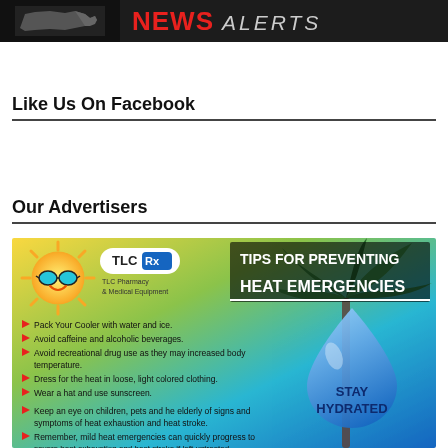NEWS ALERTS
Like Us On Facebook
Our Advertisers
[Figure (infographic): TLC Rx Pharmacy & Medical Equipment advertisement. Tips for Preventing Heat Emergencies. Features a cartoon sun with sunglasses, palm tree, water droplet graphic with STAY HYDRATED text, and a list of heat safety tips including: Pack Your Cooler with water and ice. Avoid caffeine and alcoholic beverages. Avoid recreational drug use as they may increased body temperature. Dress for the heat in loose, light colored clothing. Wear a hat and use sunscreen. Keep an eye on children, pets and he elderly of signs and symptoms of heat exhaustion and heat stroke. Remember, mild heat emergencies can quickly progress to severe heat exhaustion and heat stroke if left untreated.]